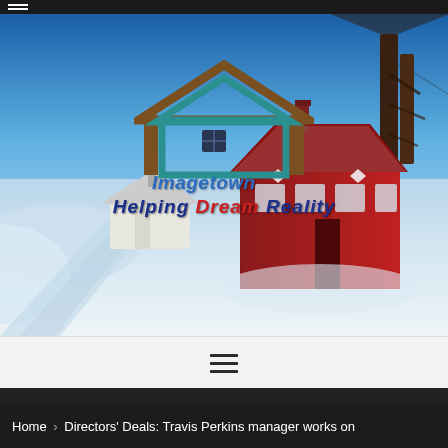[Figure (photo): Hero banner image of a winter scene with snow-covered road, red house, and blue sky. Overlaid with Imagetown Helping Dream Reality real estate logo featuring a house icon and italic bold text.]
[Figure (logo): Imagetown Helping Dream Reality logo with house outline icon, italic text 'Imagetown' in blue and 'Helping Dream Reality' below in blue/red/blue.]
Home > Directors' Deals: Travis Perkins manager works on